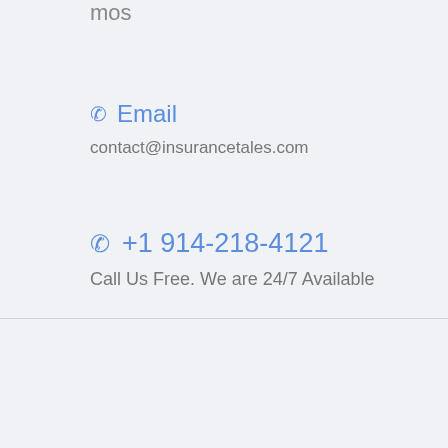mos
✆ Email
contact@insurancetales.com
✆ +1 914-218-4121
Call Us Free. We are 24/7 Available
CONTACT | PRIVACY CENTER | TERMS AND CONDITIONS | CALIFORNIA CONSUMER PRIVACY ACT DISCLOSURE | DO NOT SELL MY PERSONAL INFORMATION